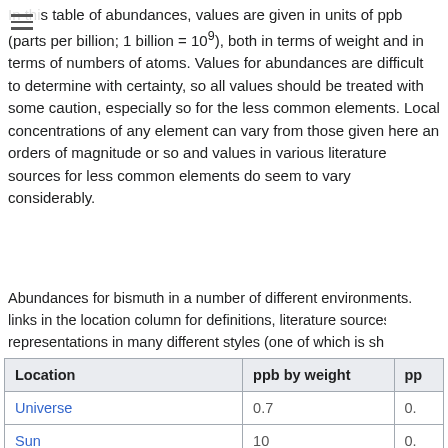In this table of abundances, values are given in units of ppb (parts per billion; 1 billion = 10^9), both in terms of weight and in terms of numbers of atoms. Values for abundances are difficult to determine with certainty, so all values should be treated with some caution, especially so for the less common elements. Local concentrations of any element can vary from those given here an orders of magnitude or so and values in various literature sources for less common elements do seem to vary considerably.
Abundances for bismuth in a number of different environments. Follow the links in the location column for definitions, literature sources and data representations in many different styles (one of which is shown above).
| Location | ppb by weight | ppb by atoms |
| --- | --- | --- |
| Universe | 0.7 | 0. |
| Sun | 10 | 0. |
| Meteorite (carbonaceous) | 70 | 5 |